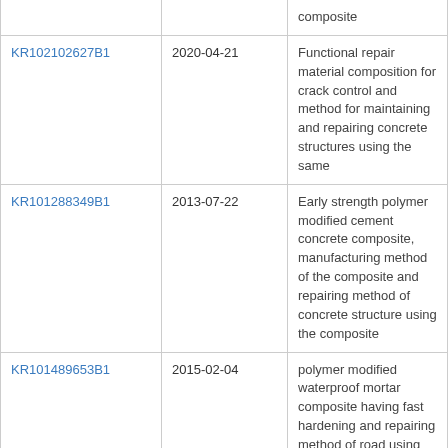| Patent ID | Date | Description |
| --- | --- | --- |
|  |  | composite |
| KR102102627B1 | 2020-04-21 | Functional repair material composition for crack control and method for maintaining and repairing concrete structures using the same |
| KR101288349B1 | 2013-07-22 | Early strength polymer modified cement concrete composite, manufacturing method of the composite and repairing method of concrete structure using the composite |
| KR101489653B1 | 2015-02-04 | polymer modified waterproof mortar composite having fast hardening and repairing method of road using the composite |
| KR101031981B1 | 2011-05-02 | Composite of self compaction polymer cement paste and road repairing method using |